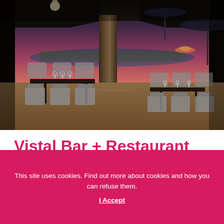[Figure (photo): Interior of Vistal Bar + Restaurant at dusk, showing upscale dining tables and chairs with a panoramic view of the harbor and sunset sky through large open glass doors. Warm wooden floors, grey upholstered chairs, dark table tops with glassware, and large structural columns are visible.]
Vistal Bar + Restaurant
This site uses cookies. Find out more about cookies and how you can refuse them.
I Accept